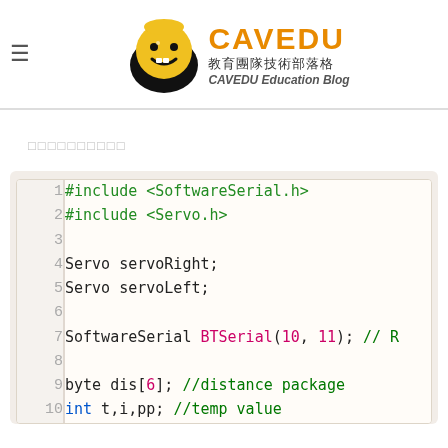CAVEDU 教育團隊技術部落格 CAVEDU Education Blog
□□□□□□□□□□
[Figure (screenshot): Code block showing Arduino C++ code with line numbers 1-10. Lines include #include <SoftwareSerial.h>, #include <Servo.h>, Servo servoRight;, Servo servoLeft;, SoftwareSerial BTSerial(10, 11); // R, byte dis[6]; //distance package, int t,i,pp; //temp value]